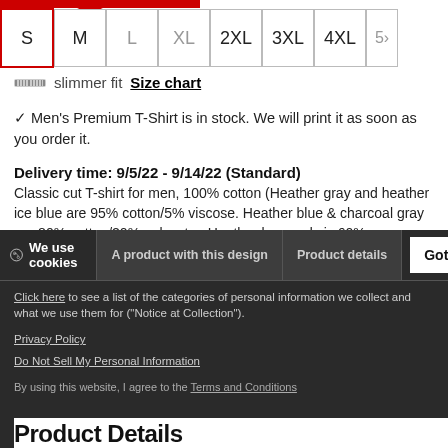S, M, L, XL, 2XL, 3XL, 4XL, 5X (size selector)
slimmer fit  Size chart
✓ Men's Premium T-Shirt is in stock. We will print it as soon as you order it.
Delivery time: 9/5/22 - 9/14/22 (Standard)
Classic cut T-shirt for men, 100% cotton (Heather gray and heather ice blue are 95% cotton/5% viscose. Heather blue & charcoal gray are 80% cotton/20% polyester. Heather burgundy is 60% cotton/40% polyester. Heather oatmeal is 99% cotton/1% viscose) Brand: Spreadshirt
We use cookies   A product with this design   Product details   Got It
Click here to see a list of the categories of personal information we collect and what we use them for ("Notice at Collection").
Privacy Policy
Do Not Sell My Personal Information
By using this website, I agree to the Terms and Conditions
Product Details